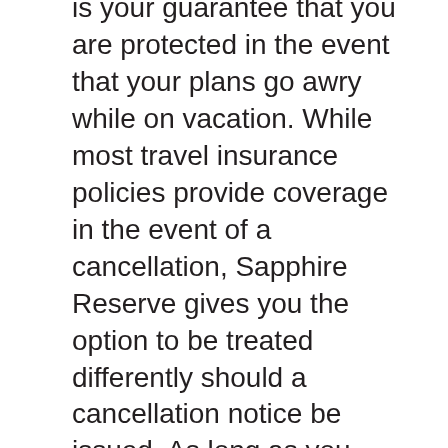is your guarantee that you are protected in the event that your plans go awry while on vacation. While most travel insurance policies provide coverage in the event of a cancellation, Sapphire Reserve gives you the option to be treated differently should a cancellation notice be issued. As long as you cancel your trip within the period specified in your policy, you will be covered. You will only be charged cancellation fees if you move to another rental car or cancel your reservation at the last minute. Having this extra coverage can make traveling much more pleasant for you.
Travel Discounts: Sapphire Reserve offers discounts and savings to those who book their trip through their website. By using